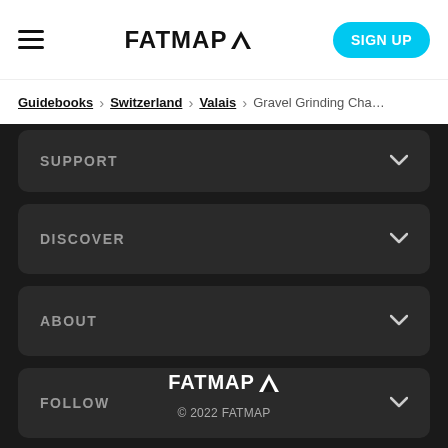FATMAP [logo] | SIGN UP
Guidebooks > Switzerland > Valais > Gravel Grinding Cha...
SUPPORT
DISCOVER
ABOUT
FOLLOW
FATMAP © 2022 FATMAP